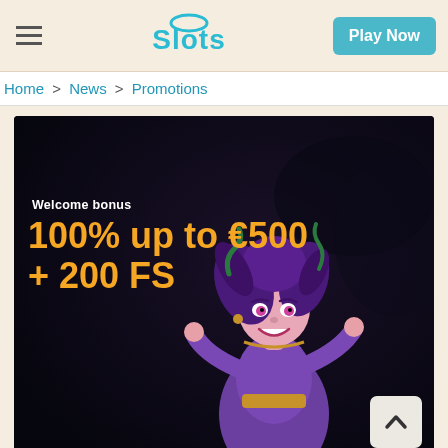Slots — Play Now
Home > News > Promotions
[Figure (screenshot): Casino promotional banner with dark background showing a cartoon Medusa character, with text 'Welcome bonus' and '100% up to €500 + 200 FS' in orange, plus a scroll-to-top button]